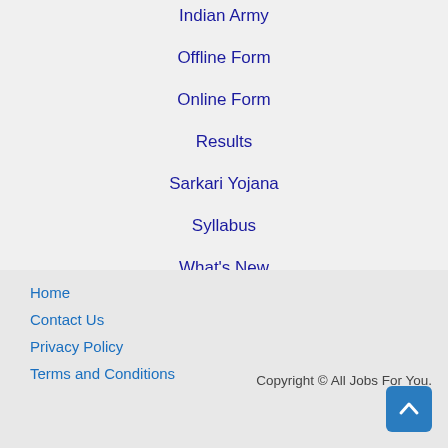Indian Army
Offline Form
Online Form
Results
Sarkari Yojana
Syllabus
What's New
Home
Contact Us
Privacy Policy
Terms and Conditions
Copyright © All Jobs For You.